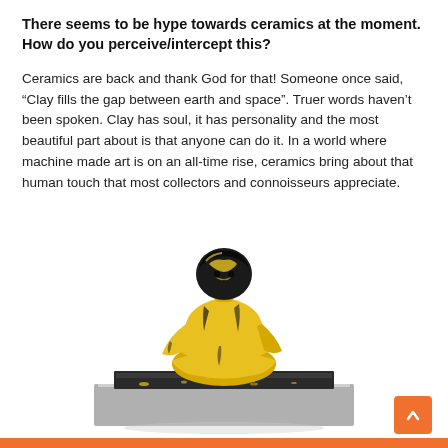There seems to be hype towards ceramics at the moment. How do you perceive/intercept this?
Ceramics are back and thank God for that! Someone once said, “Clay fills the gap between earth and space”. Truer words haven’t been spoken. Clay has soul, it has personality and the most beautiful part about is that anyone can do it. In a world where machine made art is on an all-time rise, ceramics bring about that human touch that most collectors and connoisseurs appreciate.
[Figure (photo): A yellow ceramic sculpture of a human figure in a contemplative pose, sitting on a dark metal/stone base. The figure is heavily textured with yellow and black glaze, creating a rough, expressive surface.]